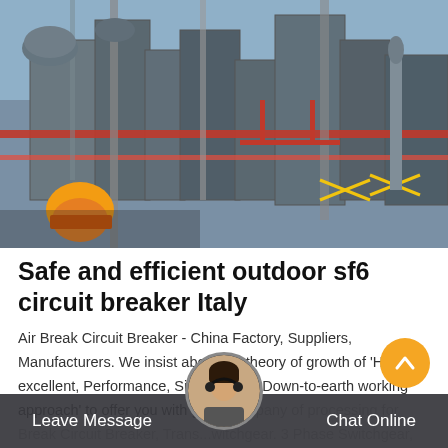[Figure (photo): Industrial outdoor facility showing large metal equipment, pipes, tanks, red scaffolding structures, and a worker wearing an orange hard hat in the foreground. Blue sky visible above.]
Safe and efficient outdoor sf6 circuit breaker Italy
Air Break Circuit Breaker - China Factory, Suppliers, Manufacturers. We insist about the theory of growth of 'High excellent, Performance, Sincerity and Down-to-earth working approach' to offer you with great company of processing for Break Circuit Breaker, Trans... witchgear. 3 Phase Switchgear, Vcb Tripping Circuit, 32 Amp Trip Switch.
Leave Message   Chat Online